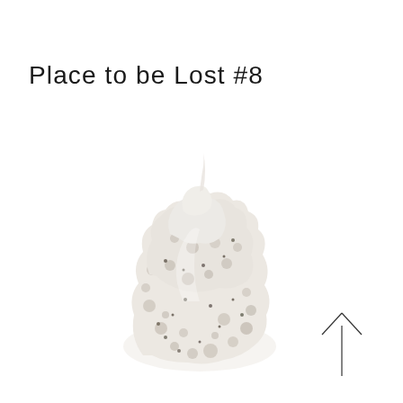Place to be Lost #8
[Figure (photo): A white porous ceramic or coral-like sculpture with holes and rough texture, photographed against a white background. The sculpture has an organic, irregular form tapering toward the top.]
[Figure (illustration): A simple upward-pointing arrow drawn with thin lines, located in the lower right area of the page.]